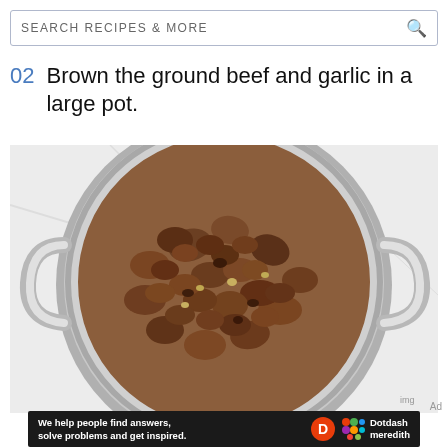SEARCH RECIPES & MORE
02  Brown the ground beef and garlic in a large pot.
[Figure (photo): Overhead view of browned ground beef and garlic cooking in a large stainless steel pot with two handles, on a white marble surface.]
Ad
We help people find answers, solve problems and get inspired. Dotdash meredith